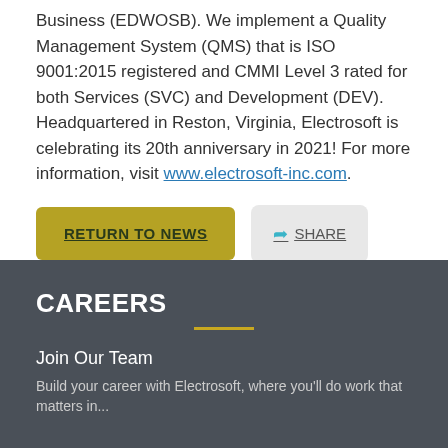Business (EDWOSB). We implement a Quality Management System (QMS) that is ISO 9001:2015 registered and CMMI Level 3 rated for both Services (SVC) and Development (DEV). Headquartered in Reston, Virginia, Electrosoft is celebrating its 20th anniversary in 2021! For more information, visit www.electrosoft-inc.com.
RETURN TO NEWS | SHARE
CAREERS
Join Our Team
Build your career with Electrosoft, where you'll do work that matters in...